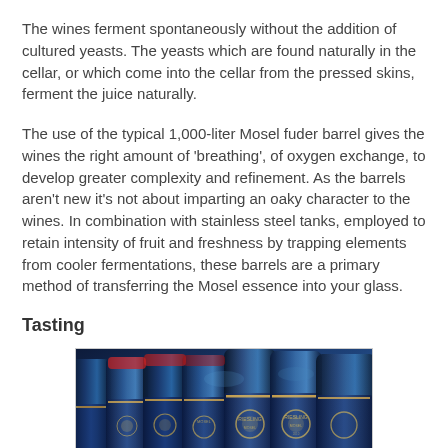The wines ferment spontaneously without the addition of cultured yeasts. The yeasts which are found naturally in the cellar, or which come into the cellar from the pressed skins, ferment the juice naturally.
The use of the typical 1,000-liter Mosel fuder barrel gives the wines the right amount of 'breathing', of oxygen exchange, to develop greater complexity and refinement. As the barrels aren't new it's not about imparting an oaky character to the wines. In combination with stainless steel tanks, employed to retain intensity of fruit and freshness by trapping elements from cooler fermentations, these barrels are a primary method of transferring the Mosel essence into your glass.
Tasting
[Figure (photo): A photograph showing multiple wine bottles lined up, with blue labels visible. The bottles appear to be Riesling wines, with gold/ornate label designs on dark blue bottles.]